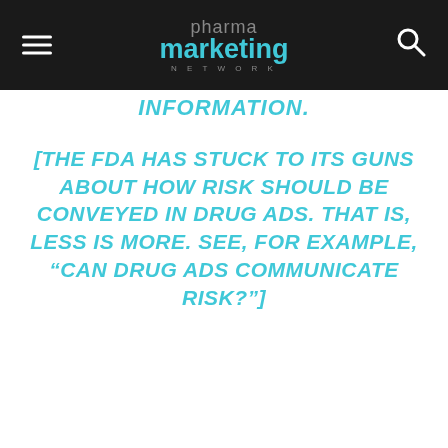pharma marketing NETWORK
INFORMATION.
[THE FDA HAS STUCK TO ITS GUNS ABOUT HOW RISK SHOULD BE CONVEYED IN DRUG ADS. THAT IS, LESS IS MORE. SEE, FOR EXAMPLE, “CAN DRUG ADS COMMUNICATE RISK?”]